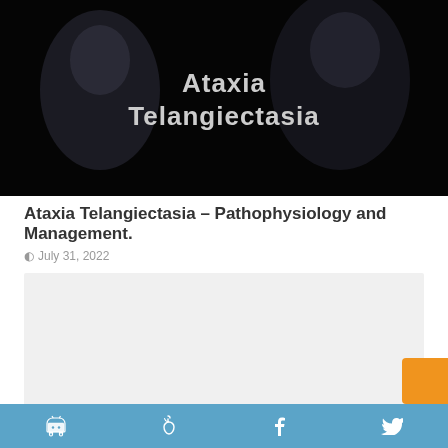[Figure (photo): Dark-themed banner image with text 'Ataxia Telangiectasia' overlaid in bold, showing a person in a dimly lit background]
Ataxia Telangiectasia – Pathophysiology and Management.
July 31, 2022
[Figure (other): Light gray content placeholder rectangle]
Android icon, Apple icon, Facebook icon, Twitter icon